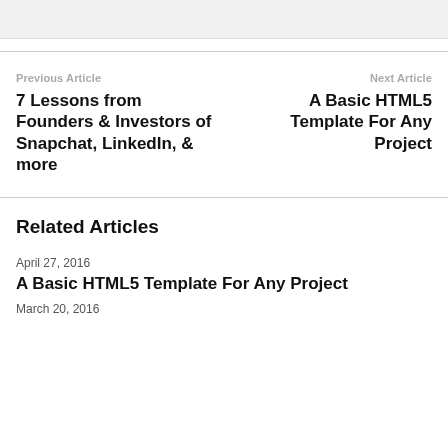[Figure (other): Top image stub / cropped image area]
Previous Article
7 Lessons from Founders & Investors of Snapchat, LinkedIn, & more
Next Article
A Basic HTML5 Template For Any Project
Related Articles
April 27, 2016
A Basic HTML5 Template For Any Project
March 20, 2016